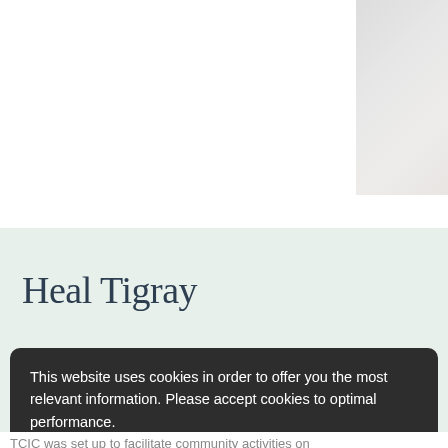[Figure (photo): Partial view of a faded floral or nature photograph in the upper right corner of the page]
Heal Tigray
This website uses cookies in order to offer you the most relevant information. Please accept cookies to optimal performance.
Know More   Accept Cookies
TCIC was set up to facilitate community activities on